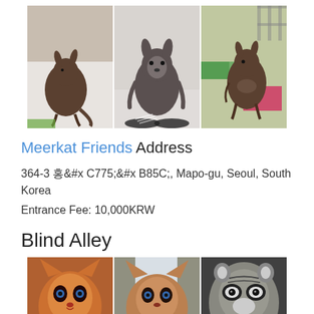[Figure (photo): Three photos of wallabies/small kangaroos in an indoor animal cafe setting]
Meerkat Friends Address
364-3 홍익로, Mapo-gu, Seoul, South Korea
Entrance Fee: 10,000KRW
Blind Alley
[Figure (photo): Three photos of raccoons and foxes at an indoor animal cafe]